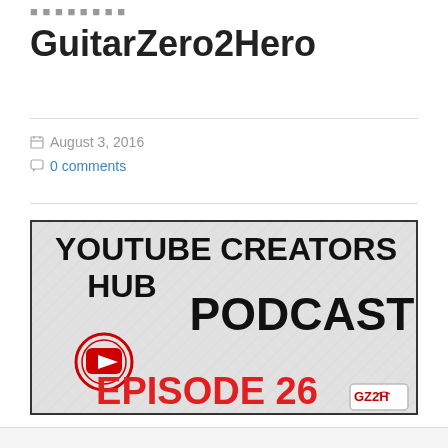GuitarZero2Hero
August 3, 2016
0 comments
[Figure (illustration): YouTube Creators Hub Podcast Episode 26 promotional image with bold black text on a light hatched background, YouTube play button logo, red 'EPISODE 26' text, and GZ2H logo in bottom right corner.]